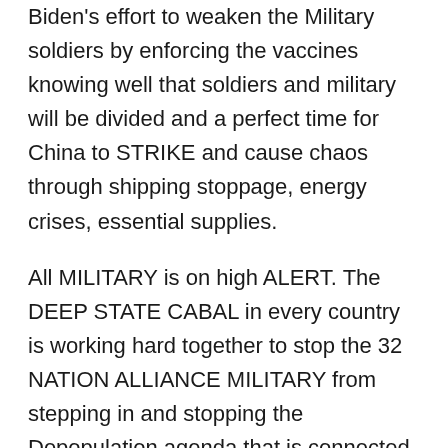Biden's effort to weaken the Military soldiers by enforcing the vaccines knowing well that soldiers and military will be divided and a perfect time for China to STRIKE and cause chaos through shipping stoppage, energy crises, essential supplies.
All MILITARY is on high ALERT. The DEEP STATE CABAL in every country is working hard together to stop the 32 NATION ALLIANCE MILITARY from stepping in and stopping the Depopulation agenda that is connected to resetting the financial system (every time the Deep State money goes into major debt they create wars.